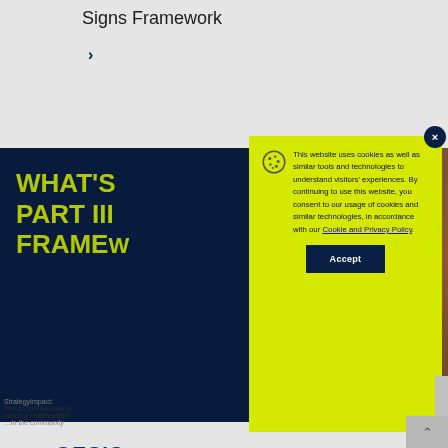Signs Framework
›
[Figure (screenshot): Dark navy blue banner with yellow-green bold text reading 'WHAT'S PART III FRAME...' (partially obscured by cookie modal)]
[Figure (logo): OESIS logo with tagline 'The Leading Network for Innovative Independent School']
OESIS Baltimo...
[Figure (screenshot): Cookie consent modal with yellow-green background. Contains cookie icon and text: 'This website uses cookies as well as similar tools and technologies to understand visitors' experiences. By continuing to use this website, you consent to our usage of cookies and similar technologies, in accordance with our Cookie and Privacy Policy.' with an Accept button.]
This website uses cookies as well as similar tools and technologies to understand visitors' experiences. By continuing to use this website, you consent to our usage of cookies and similar technologies, in accordance with our Cookie and Privacy Policy.
Accept